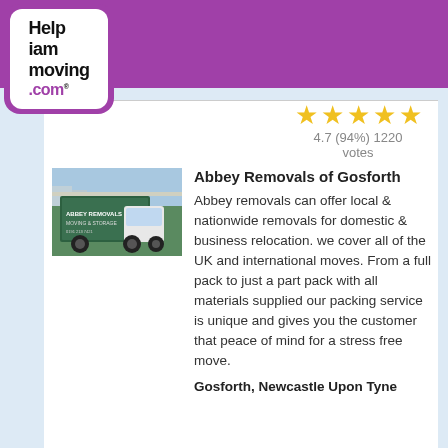[Figure (logo): Help I Am Moving .com logo with white background, black bold text and purple brand color, small heart icon top right]
About Us | Contact Us | Sitemap
[Figure (other): Hamburger menu button (three horizontal white lines on grey square)]
[Figure (other): Five gold/yellow stars rating display]
4.7 (94%) 1220 votes
[Figure (photo): Photo of a green removal truck/van]
Abbey Removals of Gosforth
Abbey removals can offer local & nationwide removals for domestic & business relocation. we cover all of the UK and international moves. From a full pack to just a part pack with all materials supplied our packing service is unique and gives you the customer that peace of mind for a stress free move.
Gosforth, Newcastle Upon Tyne